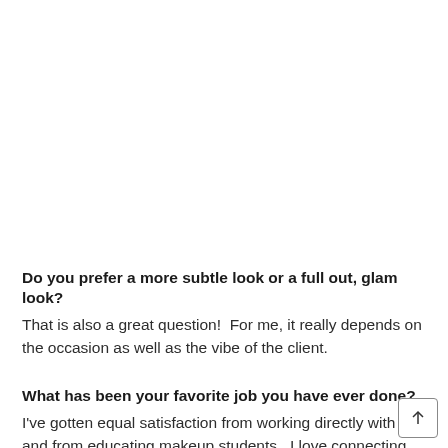Do you prefer a more subtle look or a full out, glam look?
That is also a great question!  For me, it really depends on the occasion as well as the vibe of the client.
What has been your favorite job you have ever done?
I've gotten equal satisfaction from working directly with clie and from educating makeup students.  I love connecting with